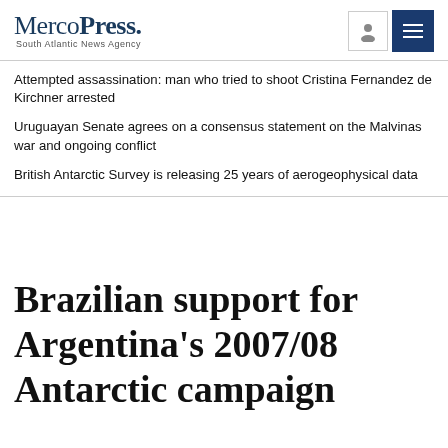MercoPress. South Atlantic News Agency
Attempted assassination: man who tried to shoot Cristina Fernandez de Kirchner arrested
Uruguayan Senate agrees on a consensus statement on the Malvinas war and ongoing conflict
British Antarctic Survey is releasing 25 years of aerogeophysical data
Brazilian support for Argentina's 2007/08 Antarctic campaign